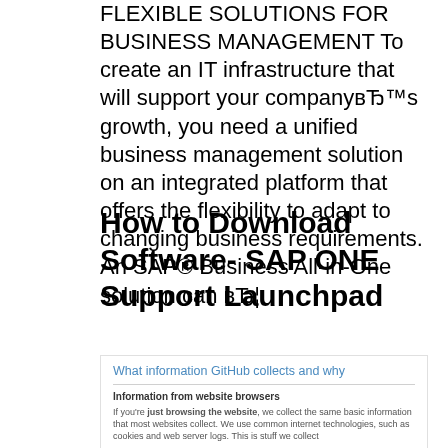FLEXIBLE SOLUTIONS FOR BUSINESS MANAGEMENT To create an IT infrastructure that will support your com­pany's growth, you need a unified business manage­ment solution on an integrat­ed platform that offers the flexibility to adapt to chang­ing business requirements. An SAP® Business All-in-One solution can в…
How to Download Software- SAP ONE Support Launchpad
What information GitHub collects and why
Information from website browsers
If you're just browsing the website, we collect the same basic information that most websites collect. We use common internet technologies, such as cookies and web server logs. This is stuff we collect